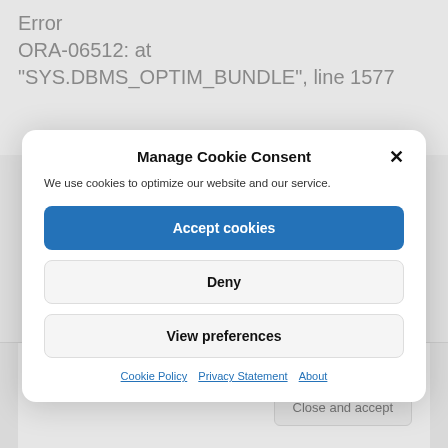Error
ORA-06512: at
"SYS.DBMS_OPTIM_BUNDLE", line 1577
Manage Cookie Consent
We use cookies to optimize our website and our service.
Accept cookies
Deny
View preferences
Cookie Policy   Privacy Statement   About
Close and accept